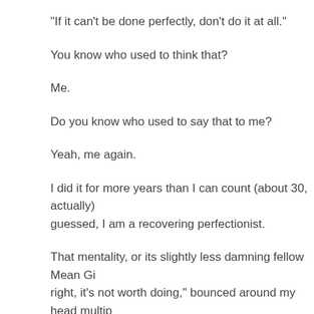“If it can’t be done perfectly, don’t do it at all.”
You know who used to think that?
Me.
Do you know who used to say that to me?
Yeah, me again.
I did it for more years than I can count (about 30, actually) guessed, I am a recovering perfectionist.
That mentality, or its slightly less damning fellow Mean Gi right, it’s not worth doing,” bounced around my head multi faced with a new challenge, I’d weight the likelihood of su pretty strong certainty that I’d nail it, I would politely declin up into such a lather of anxiety that it magnified the issue